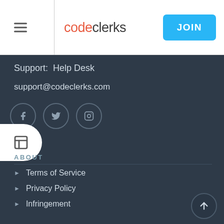codeclerks | JOIN
Support: Help Desk
support@codeclerks.com
[Figure (illustration): Social media icons: Facebook, Twitter, Instagram circles]
[Figure (illustration): Layout/table icon button on white pill shape on left edge]
ABOUT
Terms of Service
Privacy Policy
Infringement
Listing Guidelines
Service Fees